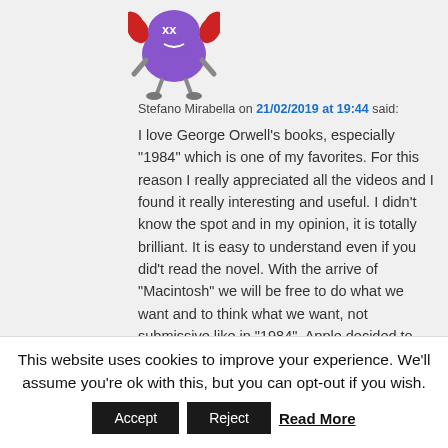[Figure (illustration): Cartoon avatar of a crab-like character with purple body and red claws, xx eyes]
Stefano Mirabella on 21/02/2019 at 19:44 said:
I love George Orwell’s books, especially “1984” which is one of my favorites. For this reason I really appreciated all the videos and I found it really interesting and useful. I didn’t know the spot and in my opinion, it is totally brilliant. It is easy to understand even if you did’t read the novel. With the arrive of "Macintosh" we will be free to do what we want and to think what we want, not submissive like in “1984”. Apple decided to publish this spot during the Super Bowl to bring this message to all kinds of people, graduates, lawyers or farmers, with few and clear images that
This website uses cookies to improve your experience. We'll assume you're ok with this, but you can opt-out if you wish.